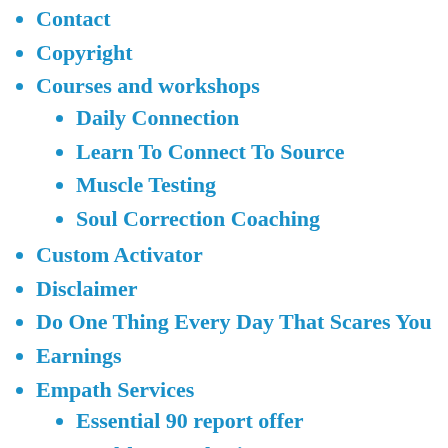Contact
Copyright
Courses and workshops
Daily Connection
Learn To Connect To Source
Muscle Testing
Soul Correction Coaching
Custom Activator
Disclaimer
Do One Thing Every Day That Scares You
Earnings
Empath Services
Essential 90 report offer
Health Consultation
Psychic Attacks, Psychic Attachments, cords, removal
Energizing The Planet